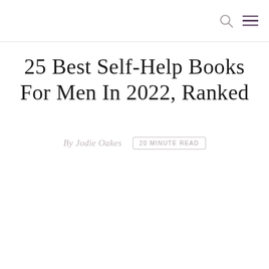25 Best Self-Help Books For Men In 2022, Ranked
By Jodie Oakes   20 MINUTE READ